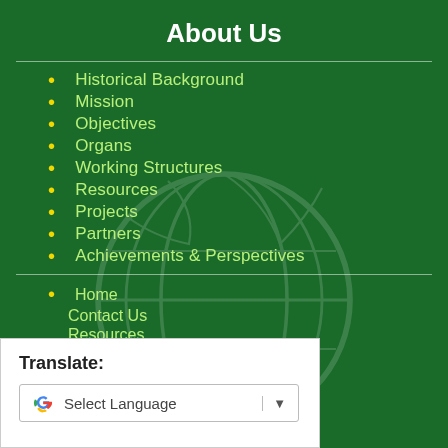About Us
Historical Background
Mission
Objectives
Organs
Working Structures
Resources
Projects
Partners
Achievements & Perspectives
Home
Contact Us
Resources
Opportunities
mail
Translate:
Select Language